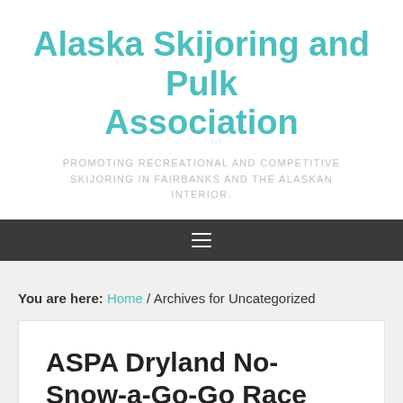Alaska Skijoring and Pulk Association
PROMOTING RECREATIONAL AND COMPETITIVE SKIJORING IN FAIRBANKS AND THE ALASKAN INTERIOR.
[Figure (other): Navigation menu bar with hamburger/menu icon (three horizontal lines) on dark background]
You are here: Home / Archives for Uncategorized
ASPA Dryland No-Snow-a-Go-Go Race